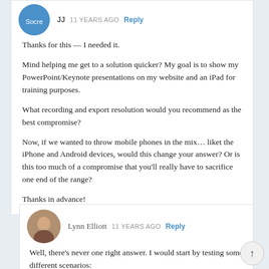JJ  11 YEARS AGO  Reply
Thanks for this — I needed it.

Mind helping me get to a solution quicker? My goal is to show my PowerPoint/Keynote presentations on my website and an iPad for training purposes.

What recording and export resolution would you recommend as the best compromise?

Now, if we wanted to throw mobile phones in the mix… liket the iPhone and Android devices, would this change your answer? Or is this too much of a compromise that you'll really have to sacrifice one end of the range?

Thanks in advance!
Lynn Elliott  11 YEARS AGO  Reply
Well, there's never one right answer. I would start by testing some different scenarios: